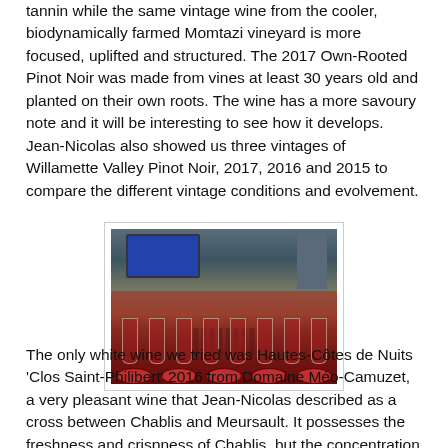tannin while the same vintage wine from the cooler, biodynamically farmed Momtazi vineyard is more focused, uplifted and structured. The 2017 Own-Rooted Pinot Noir was made from vines at least 30 years old and planted on their own roots. The wine has a more savoury note and it will be interesting to see how it develops. Jean-Nicolas also showed us three vintages of Willamette Valley Pinot Noir, 2017, 2016 and 2015 to compare the different vintage conditions and evolvement.
[Figure (photo): A wine tasting event showing rows of wine glasses and red wine in decanters/plates on a table, with a person standing in the background near a presentation screen.]
The only white wine we tried was Hautes-Côtes de Nuits 'Clos Saint-Philibert' 2016 from Domaine Méo-Camuzet, a very pleasant wine that Jean-Nicolas described as a cross between Chablis and Meursault. It possesses the freshness and crispness of Chablis, but the concentration the